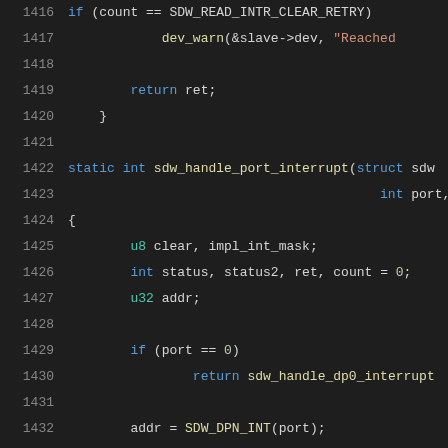[Figure (screenshot): Source code screenshot showing C code for SoundWire interrupt handling functions, lines 1416-1436, dark theme editor]